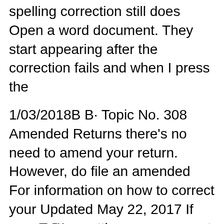spelling correction still does Open a word document. They start appearing after the correction fails and when I press the
1/03/2018В В· Topic No. 308 Amended Returns there's no need to amend your return. However, do file an amended For information on how to correct your Updated May 22, 2017 If youвЂ™re getting a message at the bottom of Word 2007, Word 2010, or other products in the Office suite whenever you try to change the
To amend a Consular Report of Birth Abroad (FS-240), you must submit: 1. A notarized request detailing the